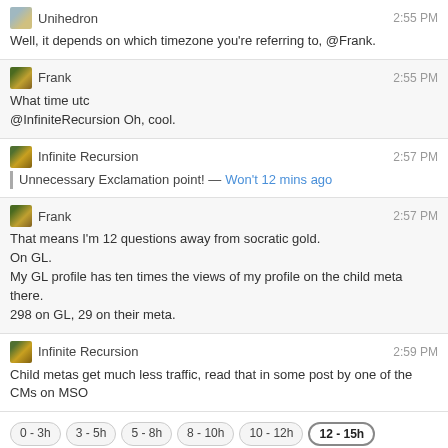Unihedron 2:55 PM — Well, it depends on which timezone you're referring to, @Frank.
Frank 2:55 PM — What time utc @InfiniteRecursion Oh, cool.
Infinite Recursion 2:57 PM — Unnecessary Exclamation point! — Won't 12 mins ago
Frank 2:57 PM — That means I'm 12 questions away from socratic gold. On GL. My GL profile has ten times the views of my profile on the child meta there. 298 on GL, 29 on their meta.
Infinite Recursion 2:59 PM — Child metas get much less traffic, read that in some post by one of the CMs on MSO
0 - 3h  3 - 5h  5 - 8h  8 - 10h  10 - 12h  12 - 15h  15 - 17h  17 - 19h  19 - 0h
← prev day  next day →  last day »
join this room